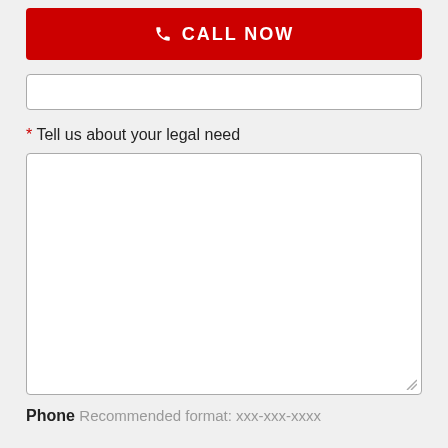CALL NOW
* Tell us about your legal need
Phone Recommended format: xxx-xxx-xxxx
Zip code